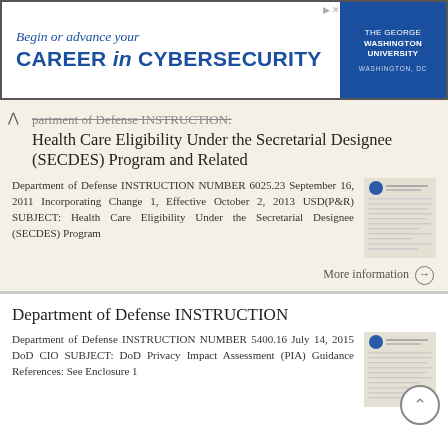[Figure (other): Advertisement banner for The George Washington University: Begin or advance your CAREER in CYBERSECURITY, Washington, DC]
Department of Defense INSTRUCTION: Health Care Eligibility Under the Secretarial Designee (SECDES) Program and Related
Department of Defense INSTRUCTION NUMBER 6025.23 September 16, 2011 Incorporating Change 1, Effective October 2, 2013 USD(P&R) SUBJECT: Health Care Eligibility Under the Secretarial Designee (SECDES) Program
More information →
Department of Defense INSTRUCTION
Department of Defense INSTRUCTION NUMBER 5400.16 July 14, 2015 DoD CIO SUBJECT: DoD Privacy Impact Assessment (PIA) Guidance References: See Enclosure 1